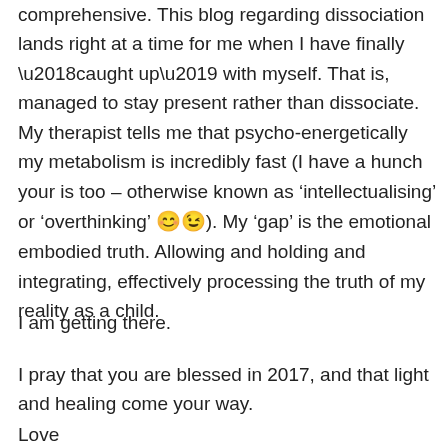comprehensive. This blog regarding dissociation lands right at a time for me when I have finally ‘caught up’ with myself. That is, managed to stay present rather than dissociate. My therapist tells me that psycho-energetically my metabolism is incredibly fast (I have a hunch your is too – otherwise known as ‘intellectualising’ or ‘overthinking’ 😊😉). My ‘gap’ is the emotional embodied truth. Allowing and holding and integrating, effectively processing the truth of my reality as a child.
I am getting there.
I pray that you are blessed in 2017, and that light and healing come your way.
Love